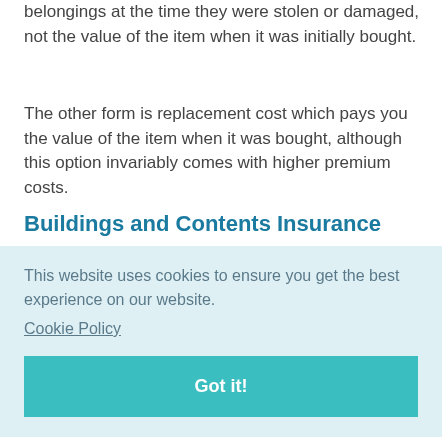belongings at the time they were stolen or damaged, not the value of the item when it was initially bought.
The other form is replacement cost which pays you the value of the item when it was bought, although this option invariably comes with higher premium costs.
Buildings and Contents Insurance
This website uses cookies to ensure you get the best experience on our website.
Cookie Policy

Got it!